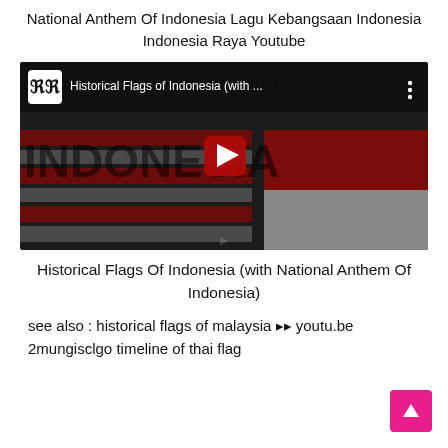National Anthem Of Indonesia Lagu Kebangsaan Indonesia Indonesia Raya Youtube
[Figure (screenshot): YouTube video thumbnail showing Historical Flags of Indonesia with a play button, dark background with Indonesia flag stripes and 'INDONESIA' text, and a top bar with YouTube logo and video title 'Historical Flags of Indonesia (with ...']
Historical Flags Of Indonesia (with National Anthem Of Indonesia)
see also : historical flags of malaysia ▷▷ youtu.be 2mungisclgo timeline of thai flag